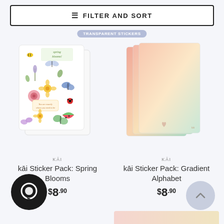FILTER AND SORT
TRANSPARENT STICKERS
[Figure (illustration): Two overlapping sticker sheets with spring botanical illustrations including butterflies, flowers, bees, and ladybugs in watercolor style]
KĀI
kāi Sticker Pack: Spring Blooms
$8.90
[Figure (illustration): Stack of three notepads or sticker sheets with pastel gradient colors: pink, peach, and teal/green gradient backgrounds]
KĀI
kāi Sticker Pack: Gradient Alphabet
$8.90